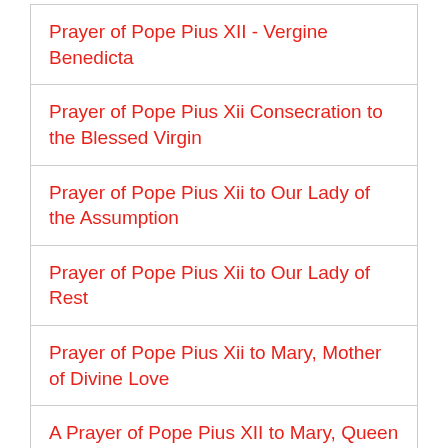Prayer of Pope Pius XII - Vergine Benedicta
Prayer of Pope Pius Xii Consecration to the Blessed Virgin
Prayer of Pope Pius Xii to Our Lady of the Assumption
Prayer of Pope Pius Xii to Our Lady of Rest
Prayer of Pope Pius Xii to Mary, Mother of Divine Love
A Prayer of Pope Pius XII to Mary, Queen
Prayer of Pope Pius Xii to Mary, Queen
Prayer of Pope Pius Xii Mary Our Strength